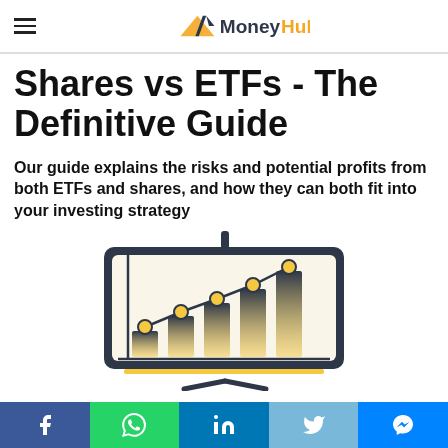MoneyHub
Shares vs ETFs - The Definitive Guide
Our guide explains the risks and potential profits from both ETFs and shares, and how they can both fit into your investing strategy
[Figure (illustration): Presentation board illustration showing a bar chart with an upward trending line chart overlaid, on a whiteboard-style display stand. Bars are dark navy/charcoal with a golden gradient fill at bottom, and gold circular data points on the line.]
Facebook | WhatsApp | LinkedIn | Twitter | Messenger social share buttons